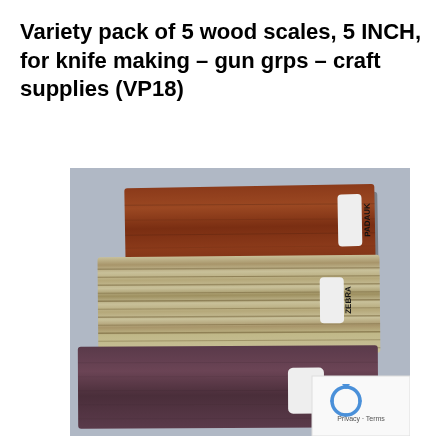Variety pack of 5 wood scales, 5 INCH, for knife making – gun grps – craft supplies (VP18)
[Figure (photo): Photo of three stacked wood scales labeled PADAUK (reddish-brown, top), ZEBRA (light striped, middle), and PURPLE HEART (dark purple-brown, bottom), with a reCAPTCHA badge in the lower right corner.]